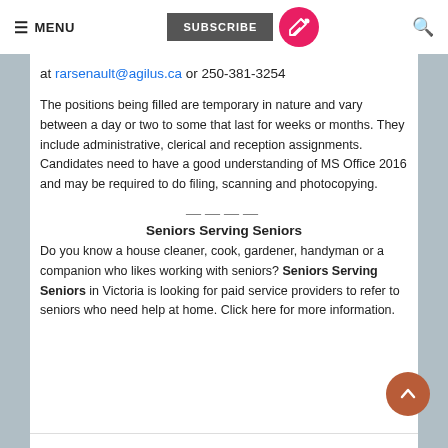≡ MENU   SUBSCRIBE   [edit icon]   [search icon]
at rarsenault@agilus.ca or 250-381-3254
The positions being filled are temporary in nature and vary between a day or two to some that last for weeks or months. They include administrative, clerical and reception assignments. Candidates need to have a good understanding of MS Office 2016 and may be required to do filing, scanning and photocopying.
Seniors Serving Seniors
Do you know a house cleaner, cook, gardener, handyman or a companion who likes working with seniors? Seniors Serving Seniors in Victoria is looking for paid service providers to refer to seniors who need help at home. Click here for more information.